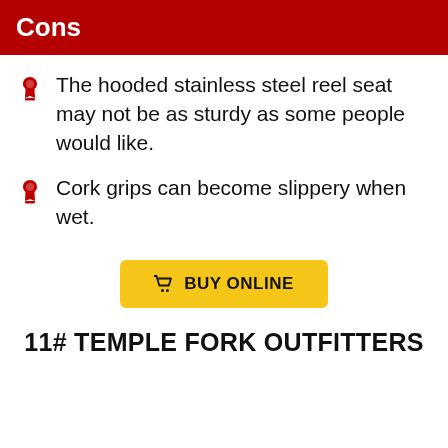Cons
The hooded stainless steel reel seat may not be as sturdy as some people would like.
Cork grips can become slippery when wet.
[Figure (other): Yellow 'BUY ONLINE' button with shopping cart icon]
11# TEMPLE FORK OUTFITTERS